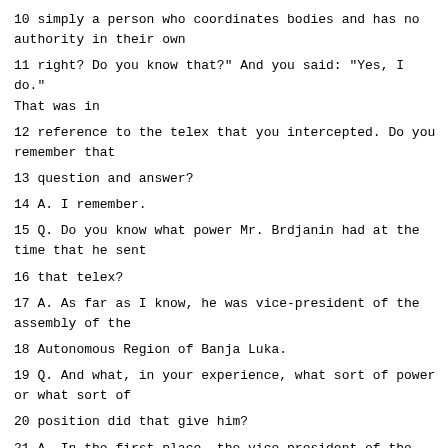10 simply a person who coordinates bodies and has no authority in their own
11 right? Do you know that?" And you said: "Yes, I do." That was in
12 reference to the telex that you intercepted. Do you remember that
13 question and answer?
14 A. I remember.
15 Q. Do you know what power Mr. Brdjanin had at the time that he sent
16 that telex?
17 A. As far as I know, he was vice-president of the assembly of the
18 Autonomous Region of Banja Luka.
19 Q. And what, in your experience, what sort of power or what sort of
20 position did that give him?
21 A. In the first place, the vice-president of the Assembly has the